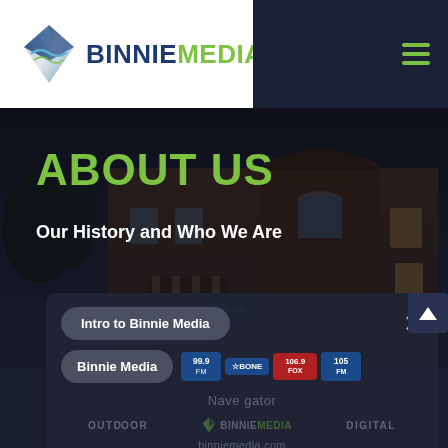[Figure (logo): Binnie Media logo with diamond gem icon and two-tone text: BINNIE in dark blue, MEDIA in green]
[Figure (photo): Dark-toned hero photo of a brick building exterior at night/dusk, used as background for the About Us section]
ABOUT US
Our History and Who We Are
[Figure (screenshot): Popup/modal overlay showing navigation for Binnie Media intro video, with buttons 'Intro to Binnie Media' and 'Binnie Media', radio station logo badges (99.9, BONE, 106.9, 105), navigation text, brand logos for Outdoor, Binnie Media, Digital, and URL binniemedia.com]